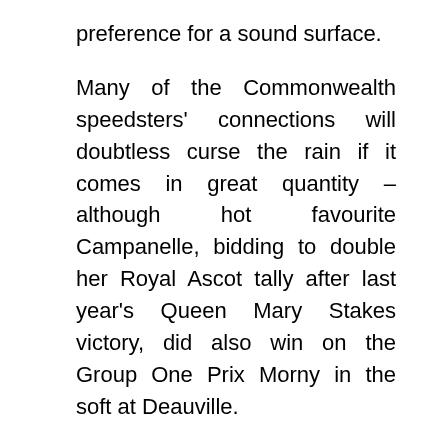preference for a sound surface.
Many of the Commonwealth speedsters' connections will doubtless curse the rain if it comes in great quantity – although hot favourite Campanelle, bidding to double her Royal Ascot tally after last year's Queen Mary Stakes victory, did also win on the Group One Prix Morny in the soft at Deauville.
The juvenile fillies kick off the quality as the card opens with the Albany Stakes – and after the three-year-old middle-distance colts have also done battle in the King Edward VII, handicap conundrums abound in the final